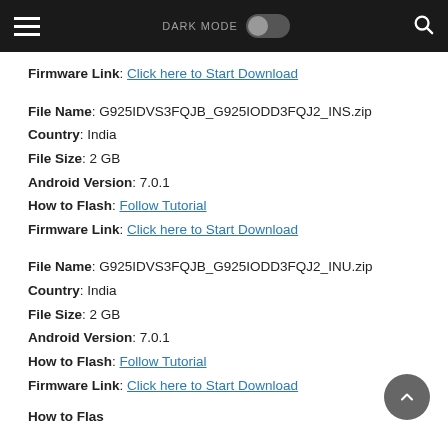DARK MODE [toggle] [search]
Firmware Link: Click here to Start Download
File Name: G925IDVS3FQJB_G925IODD3FQJ2_INS.zip
Country: India
File Size: 2 GB
Android Version: 7.0.1
How to Flash: Follow Tutorial
Firmware Link: Click here to Start Download
File Name: G925IDVS3FQJB_G925IODD3FQJ2_INU.zip
Country: India
File Size: 2 GB
Android Version: 7.0.1
How to Flash: Follow Tutorial
Firmware Link: Click here to Start Download
How to Flas...